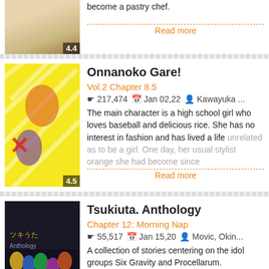become a pastry chef.
Read more
Onnanoko Gare!
Vol.2 Chapter 8.5
217,474   Jan 02,22   Kawayuka ...
The main character is a high school girl who loves baseball and delicious rice. She has no interest in fashion and has lived a life unrelated as to be a girl. One day, her usual stylist orange she had become since
Read more
Tsukiuta. Anthology
Chapter 12: Morning Nap
55,517   Jan 15,20   Movic, Okin...
A collection of stories centering on the idol groups Six Gravity and Procellarum.